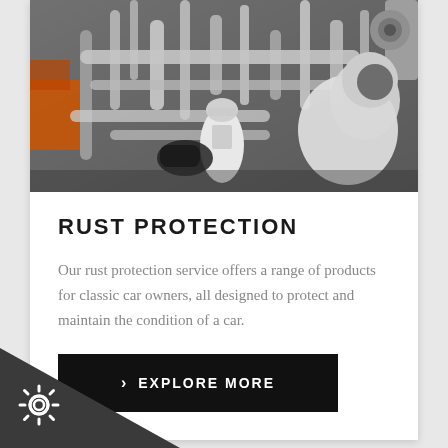[Figure (photo): Mechanic applying rust protection spray to the underside of a car on a lift, showing pipes, chassis components, and the technician in a white protective suit.]
RUST PROTECTION
Our rust protection service offers a range of products for classic car owners, all designed to protect and maintain the condition of a car.
› EXPLORE MORE